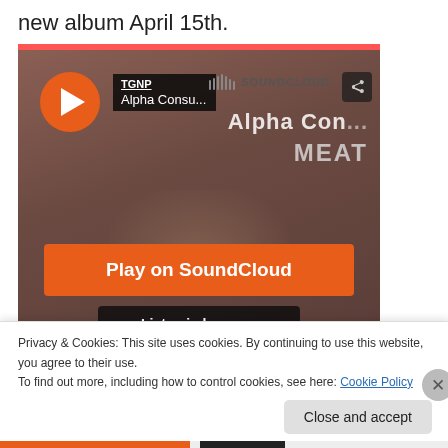new album April 15th.
[Figure (screenshot): SoundCloud embedded music player showing TGNP - Alpha Consu... track with Play on SoundCloud and Listen in browser buttons over a dark reddish background with album art]
Privacy & Cookies: This site uses cookies. By continuing to use this website, you agree to their use.
To find out more, including how to control cookies, see here: Cookie Policy
Close and accept